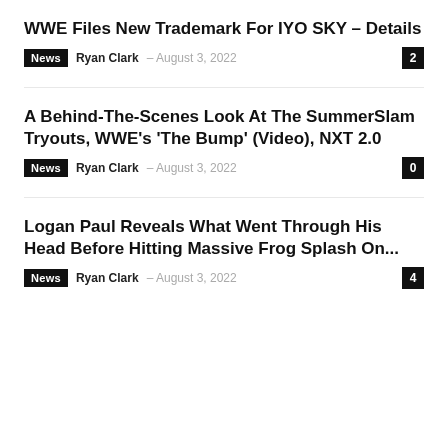WWE Files New Trademark For IYO SKY – Details
News  Ryan Clark – August 3, 2022  2
A Behind-The-Scenes Look At The SummerSlam Tryouts, WWE's 'The Bump' (Video), NXT 2.0
News  Ryan Clark – August 3, 2022  0
Logan Paul Reveals What Went Through His Head Before Hitting Massive Frog Splash On...
News  Ryan Clark – August 3, 2022  4